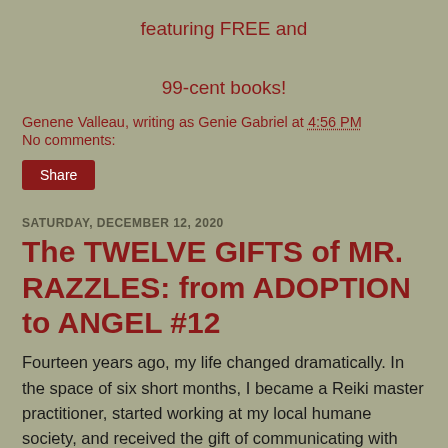featuring FREE and 99-cent books!
Genene Valleau, writing as Genie Gabriel at 4:56 PM
No comments:
Share
SATURDAY, DECEMBER 12, 2020
The TWELVE GIFTS of MR. RAZZLES: from ADOPTION to ANGEL #12
Fourteen years ago, my life changed dramatically. In the space of six short months, I became a Reiki master practitioner, started working at my local humane society, and received the gift of communicating with animals.
While working at the shelter, I realized a deep connection